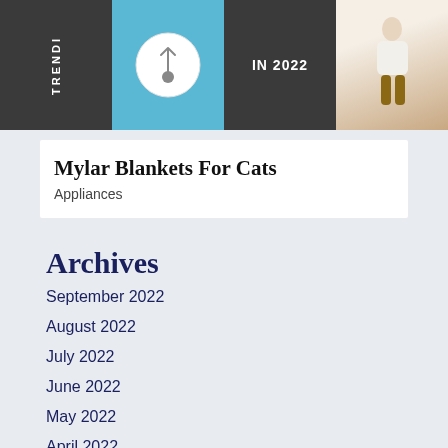[Figure (photo): Four image panels side by side: dark panel with 'TRENDING' text vertical, blue panel with white circular device/thermometer, dark panel with 'IN 2022' white bold text, beige/cream panel showing a person in white sweater and brown pants]
Mylar Blankets For Cats
Appliances
Archives
September 2022
August 2022
July 2022
June 2022
May 2022
April 2022
March 2022
February 2022